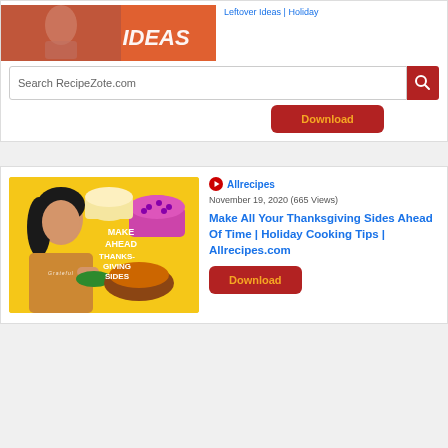[Figure (screenshot): Top portion of a recipe website card showing a food/holiday image on the left and a link 'Leftover Ideas | Holiday' on the right, with a search bar for RecipeZote.com below, and a Download button]
[Figure (screenshot): Video card from Allrecipes channel dated November 19, 2020 (665 Views) showing a thumbnail of a woman with Thanksgiving side dishes and text 'Make Ahead Thanksgiving Sides' with title 'Make All Your Thanksgiving Sides Ahead Of Time | Holiday Cooking Tips | Allrecipes.com' and a Download button]